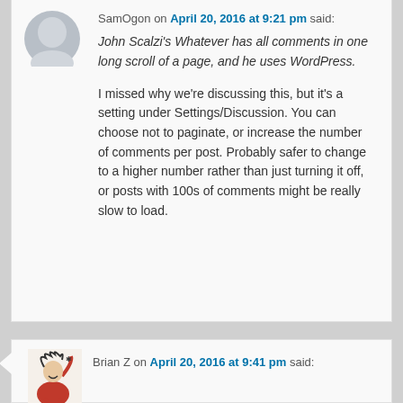[Figure (illustration): Gray circular avatar placeholder for SamOgon]
SamOgon on April 20, 2016 at 9:21 pm said:
John Scalzi's Whatever has all comments in one long scroll of a page, and he uses WordPress.
I missed why we're discussing this, but it's a setting under Settings/Discussion. You can choose not to paginate, or increase the number of comments per post. Probably safer to change to a higher number rather than just turning it off, or posts with 100s of comments might be really slow to load.
[Figure (illustration): Cartoon avatar showing a frantic red-haired character, for Brian Z]
Brian Z on April 20, 2016 at 9:41 pm said: